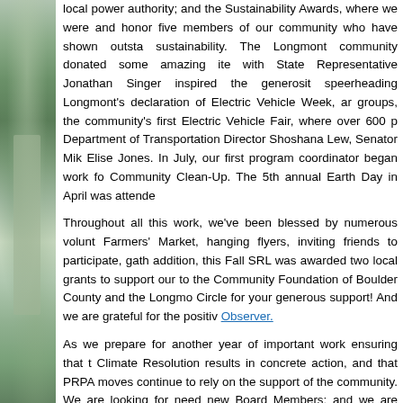[Figure (photo): A vertical strip photo on the left side showing trees and a path in a natural outdoor setting, with green and grey tones.]
local power authority; and the Sustainability Awards, where we were and honor five members of our community who have shown outsta sustainability. The Longmont community donated some amazing ite with State Representative Jonathan Singer inspired the generosit speerheading Longmont's declaration of Electric Vehicle Week, ar groups, the community's first Electric Vehicle Fair, where over 600 p Department of Transportation Director Shoshana Lew, Senator Mik Elise Jones. In July, our first program coordinator began work fo Community Clean-Up. The 5th annual Earth Day in April was attende
Throughout all this work, we've been blessed by numerous volunt Farmers' Market, hanging flyers, inviting friends to participate, gath addition, this Fall SRL was awarded two local grants to support our to the Community Foundation of Boulder County and the Longmo Circle for your generous support! And we are grateful for the positiv Observer.
As we prepare for another year of important work ensuring that t Climate Resolution results in concrete action, and that PRPA moves continue to rely on the support of the community. We are looking for need new Board Members; and we are seeking ways to engage lo more about these opportunities at our Holiday Gathering on Decemb learn more about our accomplishments, where we are heading, and w